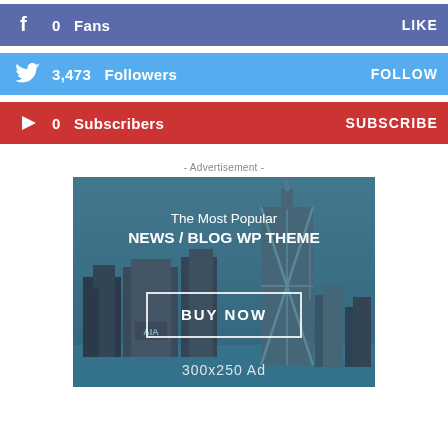0 Fans | LIKE
3,473 Followers | FOLLOW
0 Subscribers | SUBSCRIBE
- Advertisement -
[Figure (infographic): Advertisement banner showing Hong Kong city skyline with text: The Most Popular NEWS / BLOG WP THEME, a BUY NOW button, and 300x250 Ad label]